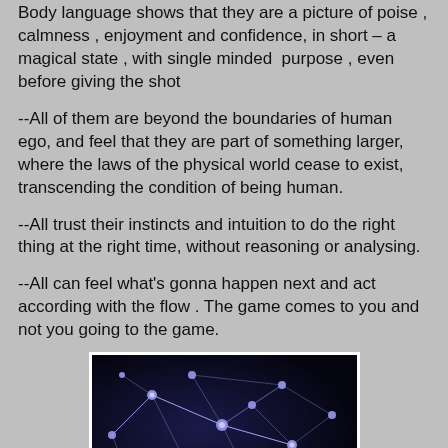Body language shows that they are a picture of poise , calmness , enjoyment and confidence, in short – a magical state , with single minded purpose , even before giving the shot
--All of them are beyond the boundaries of human ego, and feel that they are part of something larger, where the laws of the physical world cease to exist, transcending the condition of being human.
--All trust their instincts and intuition to do the right thing at the right time, without reasoning or analysing.
--All can feel what's gonna happen next and act according with the flow . The game comes to you and not you going to the game.
[Figure (photo): Close-up image of neural network neurons with glowing blue/purple connections on a dark background]